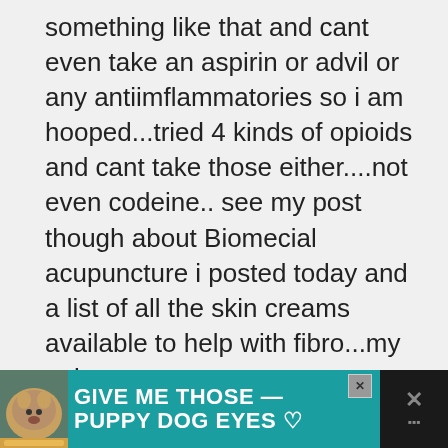something like that and cant even take an aspirin or advil or any antiimflammatories so i am hooped...tried 4 kinds of opioids and cant take those either....not even codeine.. see my post though about Biomecial acupuncture i posted today and a list of all the skin creams available to help with fibro...my pain management guy prescribed Mannitol 30% with Menthol 1% in Lipoderm and i rub it on my
[Figure (other): Advertisement banner: teal background with dog image on left, bold white text 'GIVE ME THOSE PUPPY DOG EYES', close button, heart icon, and dark right panel with X button]